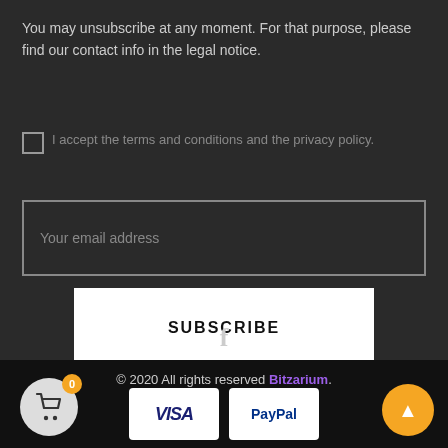You may unsubscribe at any moment. For that purpose, please find our contact info in the legal notice.
I accept the terms and conditions and the privacy policy.
Your email address
SUBSCRIBE
[Figure (illustration): Facebook 'f' icon in light gray]
© 2020 All rights reserved Bitzarium.
[Figure (logo): VISA payment logo on white card]
[Figure (logo): PayPal payment logo on white card]
[Figure (illustration): Shopping cart icon with orange badge showing 0]
[Figure (illustration): Orange circular up-arrow button]